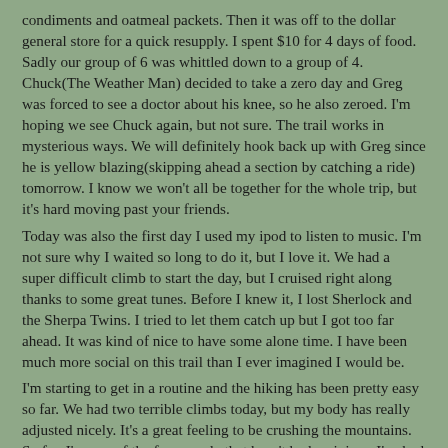condiments and oatmeal packets. Then it was off to the dollar general store for a quick resupply. I spent $10 for 4 days of food. Sadly our group of 6 was whittled down to a group of 4. Chuck(The Weather Man) decided to take a zero day and Greg was forced to see a doctor about his knee, so he also zeroed. I'm hoping we see Chuck again, but not sure. The trail works in mysterious ways. We will definitely hook back up with Greg since he is yellow blazing(skipping ahead a section by catching a ride) tomorrow. I know we won't all be together for the whole trip, but it's hard moving past your friends.
Today was also the first day I used my ipod to listen to music. I'm not sure why I waited so long to do it, but I love it. We had a super difficult climb to start the day, but I cruised right along thanks to some great tunes. Before I knew it, I lost Sherlock and the Sherpa Twins. I tried to let them catch up but I got too far ahead. It was kind of nice to have some alone time. I have been much more social on this trail than I ever imagined I would be.
I'm starting to get in a routine and the hiking has been pretty easy so far. We had two terrible climbs today, but my body has really adjusted nicely. It's a great feeling to be crushing the mountains. So far, I'm one of the few people that hasn't had an injury. I've had zero blisters and no knee pain, which everybody else seems to be